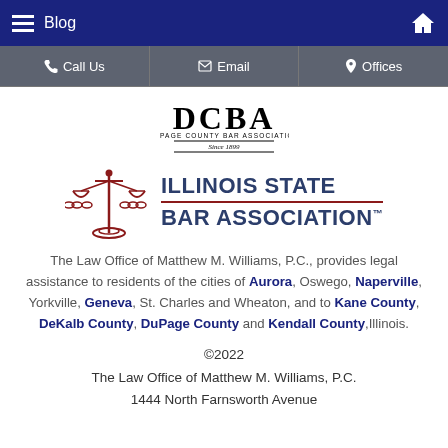Blog
[Figure (logo): Navigation bar with hamburger menu, Blog text, and home icon on dark blue background]
[Figure (logo): Action bar with Call Us, Email, and Offices buttons on grey background]
[Figure (logo): DCBA DuPage County Bar Association Since 1879 logo]
[Figure (logo): Illinois State Bar Association logo with scales of justice]
The Law Office of Matthew M. Williams, P.C., provides legal assistance to residents of the cities of Aurora, Oswego, Naperville, Yorkville, Geneva, St. Charles and Wheaton, and to Kane County, DeKalb County, DuPage County and Kendall County, Illinois.
©2022 The Law Office of Matthew M. Williams, P.C. 1444 North Farnsworth Avenue